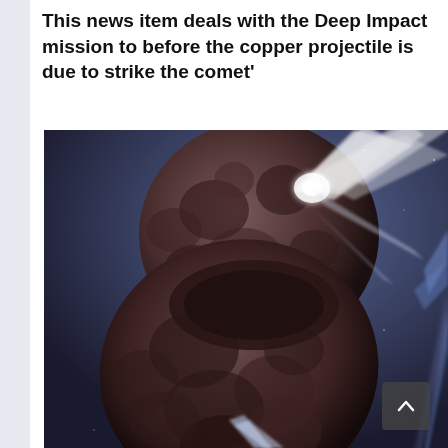This news item deals with the Deep Impact mission to before the copper projectile is due to strike the comet'
[Figure (illustration): Artist's illustration of a comet nucleus (dark, rocky, irregular shape) with jets of material streaming from its surface against a dark blue space background. The comet appears to be Tempel 1, showing the impact from NASA's Deep Impact mission — white plumes of ejected material are visible radiating outward from the upper portion of the comet.]